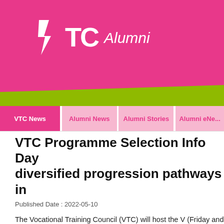[Figure (logo): VTC Alumni logo with white VTC lightning bolt text and italic Alumni text on pink background]
VTC News | Alumni News | Alumni Stories | Alumni eNews
VTC Programme Selection Info Day diversified progression pathways in
Published Date : 2022-05-10
The Vocational Training Council (VTC) will host the V (Friday and Saturday) in an online and hybrid format pathways after the Hong Kong Diploma of Secondary students and parents will be able to gain first-hand inf leading to awards at different levels including Bachelo Studies and Diploma of Vocational Education. Statisti programme selection and interactive Q&A sessions w